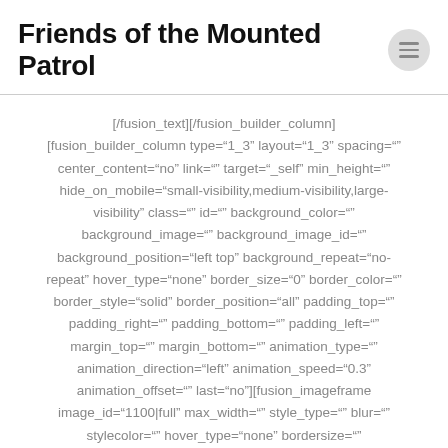Friends of the Mounted Patrol
[/fusion_text][/fusion_builder_column] [fusion_builder_column type="1_3" layout="1_3" spacing="" center_content="no" link="" target="_self" min_height="" hide_on_mobile="small-visibility,medium-visibility,large-visibility" class="" id="" background_color="" background_image="" background_image_id="" background_position="left top" background_repeat="no-repeat" hover_type="none" border_size="0" border_color="" border_style="solid" border_position="all" padding_top="" padding_right="" padding_bottom="" padding_left="" margin_top="" margin_bottom="" animation_type="" animation_direction="left" animation_speed="0.3" animation_offset="" last="no"][fusion_imageframe image_id="1100|full" max_width="" style_type="" blur="" stylecolor="" hover_type="none" bordersize=""